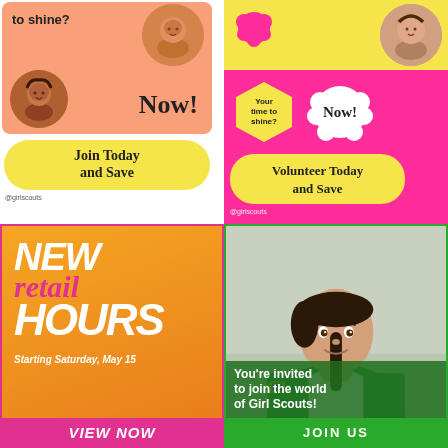[Figure (illustration): Girl Scouts social media graphic: pink/salmon background with two girl photos in circles. Text 'to shine?' at top left, 'Now!' large at right. Yellow rounded badge 'Join Today and Save'. Handle @girlscouts at bottom.]
[Figure (illustration): Girl Scouts social media graphic: hot pink background with yellow top strip and girl photo. Yellow hexagon shape with 'Your time to shine?', white cloud bubble with 'Now!'. Yellow rounded badge 'Volunteer Today and Save'. Handle @girlscouts.]
[Figure (illustration): Girl Scouts retail announcement: orange gradient background with pink border. Large italic white/pink text: 'NEW retail HOURS'. Italic text 'Starting Saturday, May 15'. Pink bar at bottom: 'VIEW NOW'.]
[Figure (illustration): Girl Scouts recruitment graphic: photo of girl in green scout vest smiling. Green bar at bottom with white text: 'You're invited to join the world of Girl Scouts!' and 'JOIN US'.]